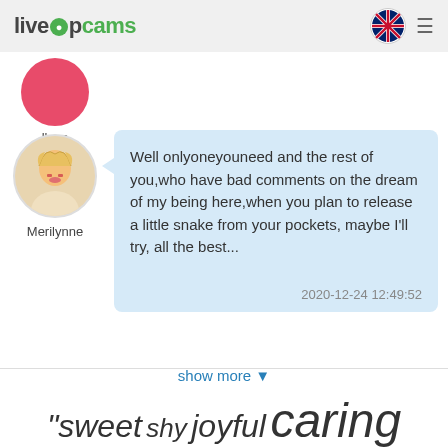livetopcams [flag] [menu]
[Figure (photo): Partially visible circular profile avatar with red/pink background, cropped at top]
llops
[Figure (photo): Circular profile photo of a blonde woman, labeled Merilynne]
Well onlyoneyouneed and the rest of you,who have bad comments on the dream of my being here,when you plan to release a little snake from your pockets, maybe I'll try, all the best...
2020-12-24 12:49:52
show more ▾
"sweet shy joyful caring sensitive romantic passionate